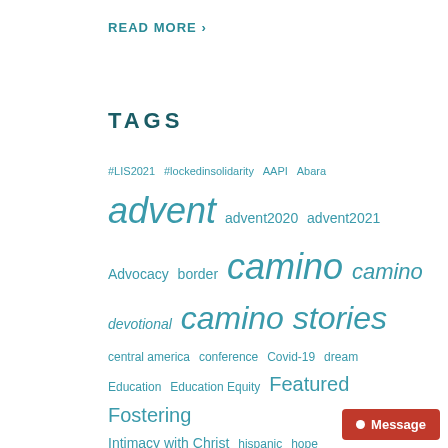READ MORE ›
TAGS
#LIS2021 #lockedinsolidarity AAPI Abara advent advent2020 advent2021 Advocacy border camino camino devotional camino stories central america conference Covid-19 dream Education Education Equity Featured Fostering Intimacy with Christ hispanic hope immigration justice latinx Lent Lent20
Message